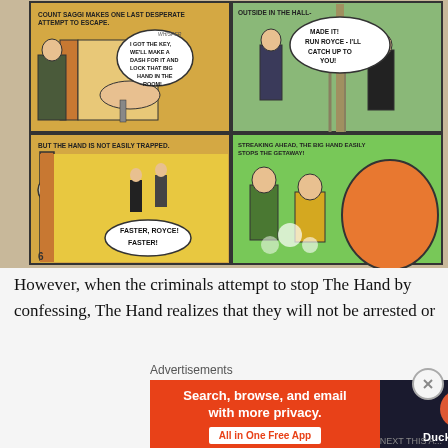[Figure (illustration): Vintage comic book page showing Count Saggi attempting to escape with a key, then being stopped outside the hall by The Big Hand. Four panels: top-left shows a man whispering about getting a key to lock the Big Hand in; top-right shows a man saying 'Made it! Run Royce - I'll catch up to you!'; bottom-left shows 'But the hand is not easily trapped' with a hand blocking a door and characters running, speech bubble 'Faster, Royce! Faster!'; bottom-right shows 'Streaking ahead, the Big Hand easily stops the getaway!' with a giant hand grabbing characters. Page number 6 in bottom-left corner.]
However, when the criminals attempt to stop The Hand by confessing, The Hand realizes that they will not be arrested or
Advertisements
[Figure (screenshot): DuckDuckGo advertisement banner: left side red background with text 'Search, browse, and email with more privacy. All in One Free App'; right side dark background with DuckDuckGo logo and brand name.]